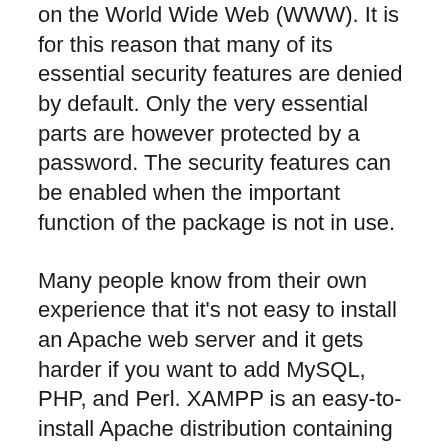on the World Wide Web (WWW). It is for this reason that many of its essential security features are denied by default. Only the very essential parts are however protected by a password. The security features can be enabled when the important function of the package is not in use.
Many people know from their own experience that it's not easy to install an Apache web server and it gets harder if you want to add MySQL, PHP, and Perl. XAMPP is an easy-to-install Apache distribution containing MySQL, PHP, and Perl. XAMPP is very easy to install and use – just download, extract, and start. It is lightweight and because of its many similarities with the components of other Web Servers, it is